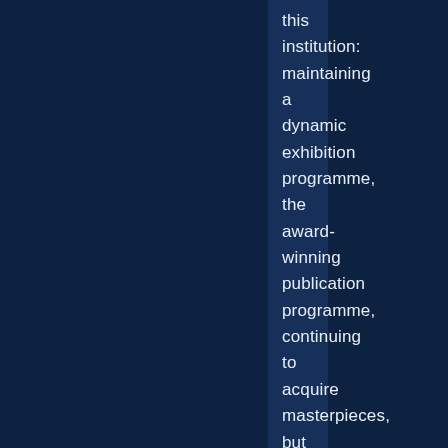this institution: maintaining a dynamic exhibition programme, the award-winning publication programme, continuing to acquire masterpieces, but also to expand study collections